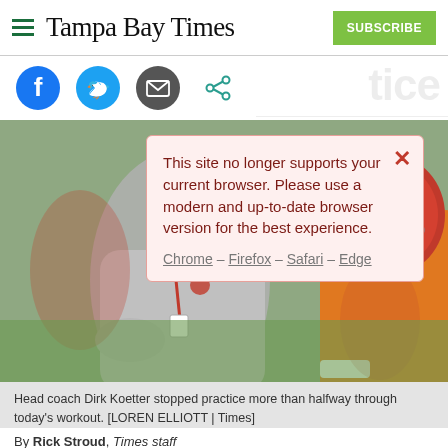Tampa Bay Times — SUBSCRIBE
[Figure (screenshot): Social sharing icons row: Facebook (blue circle), Twitter (blue circle), Email (dark circle with envelope), Share (teal outline icon)]
This site no longer supports your current browser. Please use a modern and up-to-date browser version for the best experience. Chrome – Firefox – Safari – Edge
[Figure (photo): Head coach Dirk Koetter in gray long-sleeve shirt standing at practice. A player in orange jersey visible on the right side. Football practice setting with red elements in background.]
Head coach Dirk Koetter stopped practice more than halfway through today's workout. [LOREN ELLIOTT | Times]
By Rick Stroud, Times staff